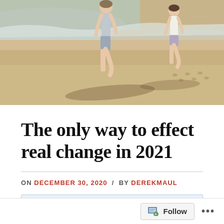[Figure (photo): Two children running on a beach with wet sand and ocean waves in the background. Long shadows cast on the sand. Sunny beach scene with warm sandy tones.]
The only way to effect real change in 2021
ON DECEMBER 30, 2020 / BY DEREKMAUL